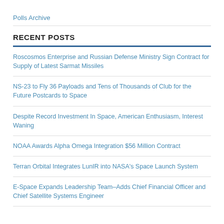Polls Archive
RECENT POSTS
Roscosmos Enterprise and Russian Defense Ministry Sign Contract for Supply of Latest Sarmat Missiles
NS-23 to Fly 36 Payloads and Tens of Thousands of Club for the Future Postcards to Space
Despite Record Investment In Space, American Enthusiasm, Interest Waning
NOAA Awards Alpha Omega Integration $56 Million Contract
Terran Orbital Integrates LunIR into NASA's Space Launch System
E-Space Expands Leadership Team–Adds Chief Financial Officer and Chief Satellite Systems Engineer